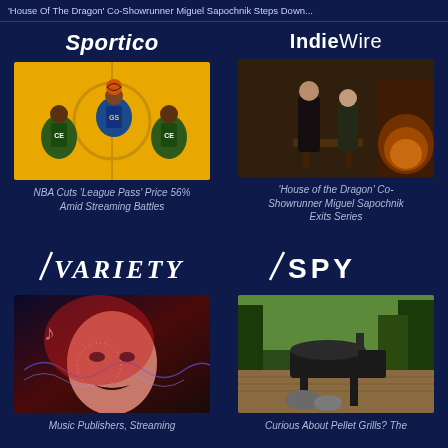'House Of The Dragon' Co-Showrunner Miguel Sapochnik Steps Down...
Sportico
[Figure (photo): Aerial view of NBA basketball game with players in green and blue/gold uniforms jumping for the ball on a yellow court]
NBA Cuts 'League Pass' Price 56% Amid Streaming Battles
IndieWire
[Figure (photo): Scene from House of the Dragon showing two characters in medieval-style costumes in a dimly lit stone room with a fireplace]
'House of the Dragon' Co-Showrunner Miguel Sapochnik Exits Series
VARIETY
[Figure (photo): Artistic graphic of a woman's face overlaid with musical notes and sound wave visualizations in red and blue tones]
Music Publishers, Streaming
SPY
[Figure (photo): Pellet grill/smoker on a wooden deck surrounded by trees and greenery]
Curious About Pellet Grills? The